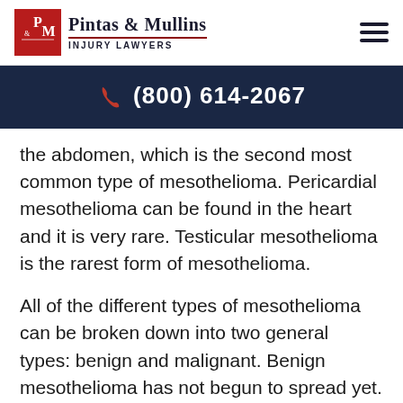Pintas & Mullins INJURY LAWYERS
(800) 614-2067
the abdomen, which is the second most common type of mesothelioma. Pericardial mesothelioma can be found in the heart and it is very rare. Testicular mesothelioma is the rarest form of mesothelioma.
All of the different types of mesothelioma can be broken down into two general types: benign and malignant. Benign mesothelioma has not begun to spread yet. Malignant mesothelioma has begun to spread and needs a different type of treatment to cure. It can be also more aggressive and needs an